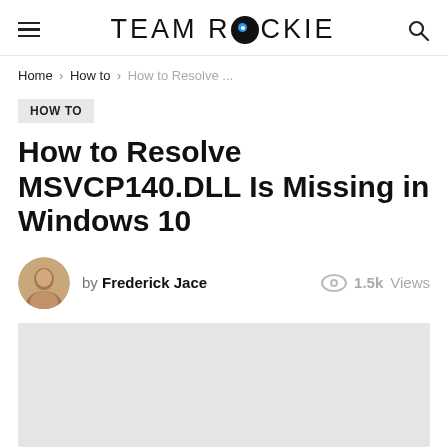TEAM ROCKIE
Home › How to › How to Resolve ...
HOW TO
How to Resolve MSVCP140.DLL Is Missing in Windows 10
by Frederick Jace   1.5k Views
[Figure (photo): Light gray placeholder image block]